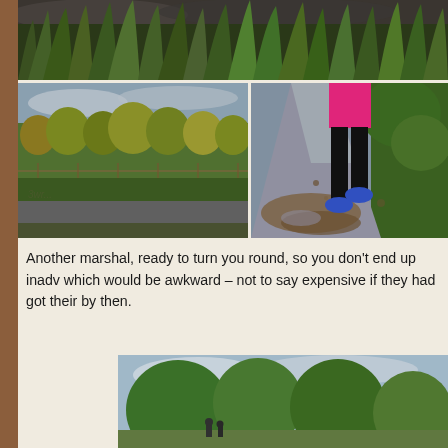[Figure (photo): Photo of long wild grass and dark stormy sky, cropped at top of page]
[Figure (photo): Left photo: autumnal park or field scene with trees showing yellow/green foliage, grass, and a road or path]
[Figure (photo): Right photo: muddy trail with puddles, runner's legs visible wearing pink top, black leggings and blue shoes, jumping over mud]
Another marshal, ready to turn you round, so you don't end up inadv which would be awkward – not to say expensive if they had got their by then.
[Figure (photo): Bottom center photo: outdoor scene with trees, partially visible, appears to show people near trees in a park setting]